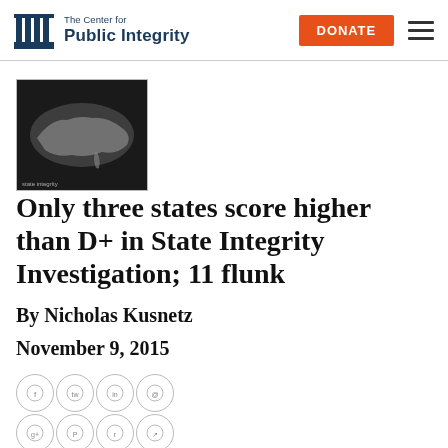The Center for Public Integrity | DONATE
[Figure (photo): Grayscale image of a US map with dark background]
Only three states score higher than D+ in State Integrity Investigation; 11 flunk
By Nicholas Kusnetz
November 9, 2015
[Figure (other): Grid of social sharing icon buttons (4 columns x 4 rows of circular icons)]